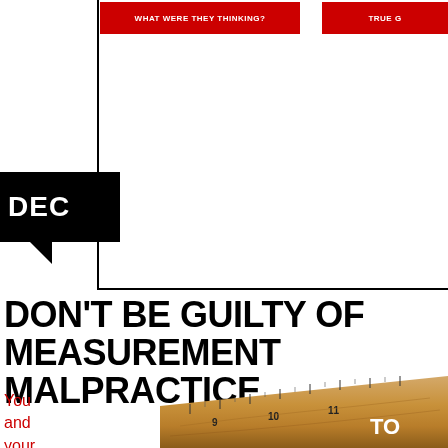WHAT WERE THEY THINKING?   TRUE G
DON'T BE GUILTY OF MEASUREMENT MALPRACTICE
You
and
your
[Figure (photo): Close-up photo of a wooden ruler showing measurements around 9-12 with bold white text 'TO' visible]